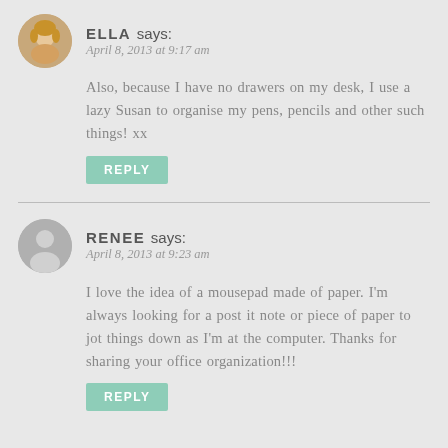[Figure (photo): Avatar photo of Ella, a woman with blonde hair, circular crop]
ELLA says:
April 8, 2013 at 9:17 am
Also, because I have no drawers on my desk, I use a lazy Susan to organise my pens, pencils and other such things! xx
REPLY
[Figure (illustration): Generic avatar silhouette of a person, circular, grey]
RENEE says:
April 8, 2013 at 9:23 am
I love the idea of a mousepad made of paper. I'm always looking for a post it note or piece of paper to jot things down as I'm at the computer. Thanks for sharing your office organization!!!
REPLY